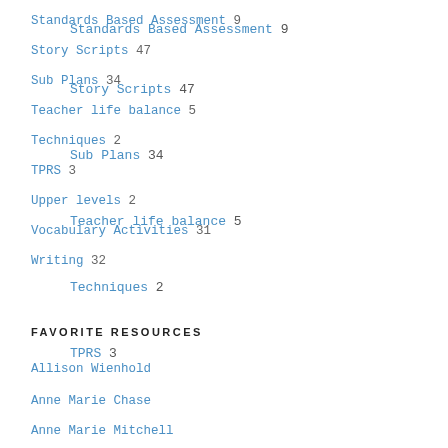Standards Based Assessment 9
Story Scripts 47
Sub Plans 34
Teacher life balance 5
Techniques 2
TPRS 3
Upper levels 2
Vocabulary Activities 31
Writing 32
FAVORITE RESOURCES
Allison Wienhold
Anne Marie Chase
Anne Marie Mitchell